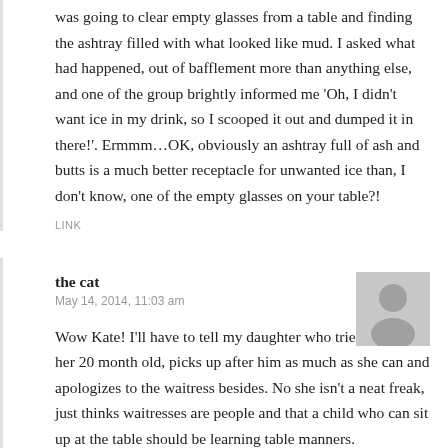was going to clear empty glasses from a table and finding the ashtray filled with what looked like mud. I asked what had happened, out of bafflement more than anything else, and one of the group brightly informed me 'Oh, I didn't want ice in my drink, so I scooped it out and dumped it in there!'. Ermmm…OK, obviously an ashtray full of ash and butts is a much better receptacle for unwanted ice than, I don't know, one of the empty glasses on your table?!
LINK
the cat
May 14, 2014, 11:03 am
[Figure (illustration): Gray avatar/profile placeholder icon showing a silhouette of a person]
Wow Kate! I'll have to tell my daughter who tries to restrain her 20 month old, picks up after him as much as she can and apologizes to the waitress besides. No she isn't a neat freak, just thinks waitresses are people and that a child who can sit up at the table should be learning table manners.